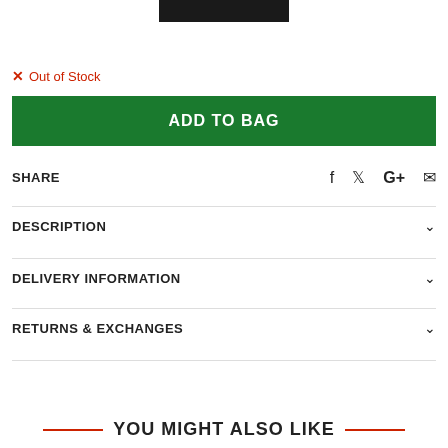[Figure (photo): Dark/black product image bar at top center]
✕ Out of Stock
ADD TO BAG
SHARE
DESCRIPTION
DELIVERY INFORMATION
RETURNS & EXCHANGES
YOU MIGHT ALSO LIKE